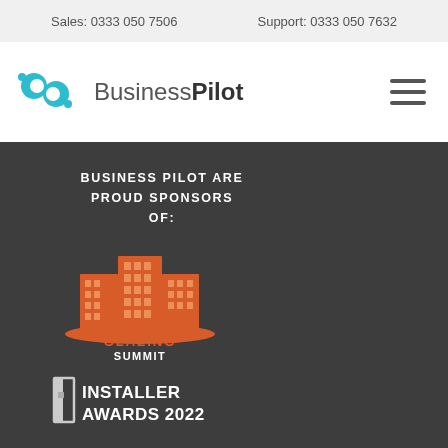Sales: 0333 050 7506    Support: 0333 050 7632
[Figure (logo): BusinessPilot logo with teal 'bp' icon and gray/black wordmark 'Business Pilot']
BUSINESS PILOT ARE PROUD SPONSORS OF:
[Figure (logo): Glazing Summit logo - orange building icon with text 'GLAZING SUMMIT' below]
[Figure (logo): Installer Awards 2022 logo - white open book/door icon with text 'INSTALLER AWARDS 2022']